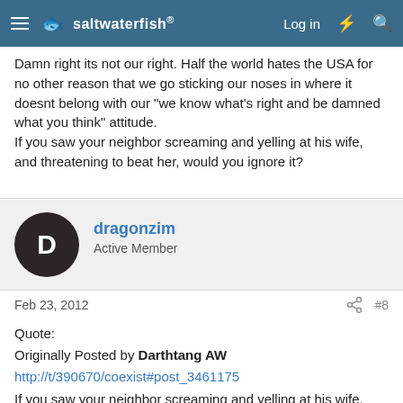saltwaterfish | Log in
Damn right its not our right. Half the world hates the USA for no other reason that we go sticking our noses in where it doesnt belong with our "we know what's right and be damned what you think" attitude.
If you saw your neighbor screaming and yelling at his wife, and threatening to beat her, would you ignore it?
dragonzim
Active Member
Feb 23, 2012  #8
Quote:
Originally Posted by Darthtang AW
http://t/390670/coexist#post_3461175
If you saw your neighbor screaming and yelling at his wife, and threatening to beat her, would you ignore it?
Not even close to a fair comparison